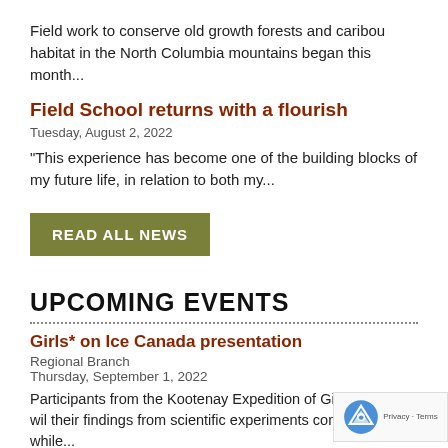Field work to conserve old growth forests and caribou habitat in the North Columbia mountains began this month...
Field School returns with a flourish
Tuesday, August 2, 2022
“This experience has become one of the building blocks of my future life, in relation to both my...
READ ALL NEWS
UPCOMING EVENTS
Girls* on Ice Canada presentation
Regional Branch
Thursday, September 1, 2022
Participants from the Kootenay Expedition of Girls* On Ice wil their findings from scientific experiments conducted while...